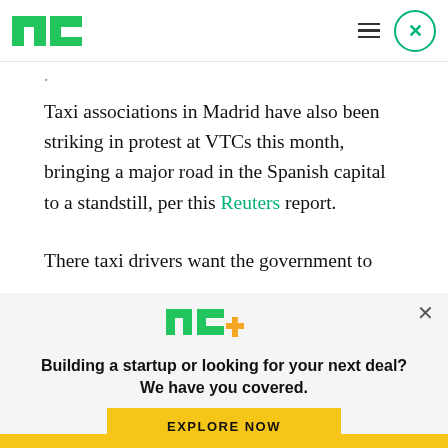TechCrunch logo, menu and close button
Taxi associations in Madrid have also been striking in protest at VTCs this month, bringing a major road in the Spanish capital to a standstill, per this Reuters report.
There taxi drivers want the government to
[Figure (logo): TechCrunch TC+ logo in green and yellow]
Building a startup or looking for your next deal? We have you covered.
EXPLORE NOW